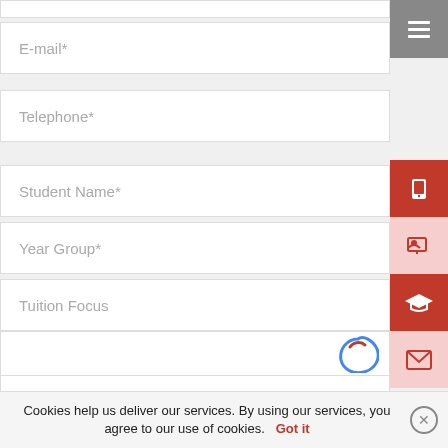[Figure (screenshot): Web form with fields: E-mail*, Telephone*, Student Name*, Year Group*, Tuition Focus, Your Message, plus sidebar icons (menu, phone, person, graduation cap, envelope) and a cookie consent bar at the bottom.]
E-mail*
Telephone*
Student Name*
Year Group*
Tuition Focus
Your Message
Cookies help us deliver our services. By using our services, you agree to our use of cookies.  Got it